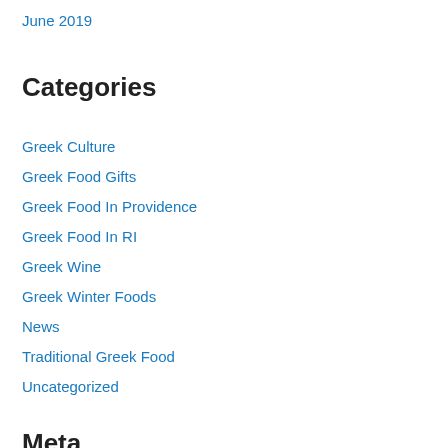June 2019
Categories
Greek Culture
Greek Food Gifts
Greek Food In Providence
Greek Food In RI
Greek Wine
Greek Winter Foods
News
Traditional Greek Food
Uncategorized
Meta